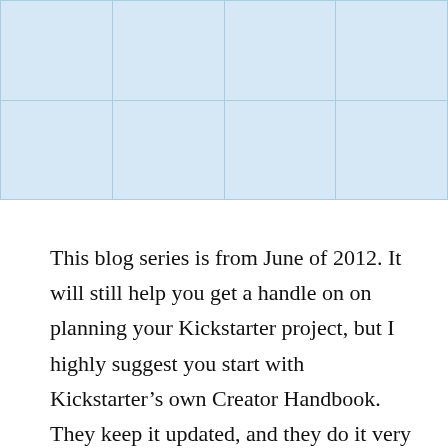|  |  |  |  |
|  |  |  |  |
This blog series is from June of 2012. It will still help you get a handle on on planning your Kickstarter project, but I highly suggest you start with Kickstarter’s own Creator Handbook. They keep it updated, and they do it very well. Once you’re finished with that, this series can give you some insight …